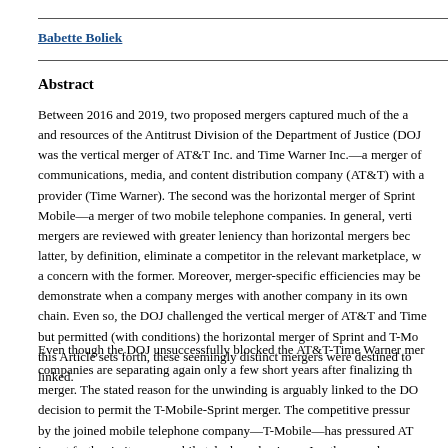Babette Boliek
Abstract
Between 2016 and 2019, two proposed mergers captured much of the attention and resources of the Antitrust Division of the Department of Justice (DOJ). One was the vertical merger of AT&T Inc. and Time Warner Inc.—a merger of a communications, media, and content distribution company (AT&T) with a content provider (Time Warner). The second was the horizontal merger of Sprint and T-Mobile—a merger of two mobile telephone companies. In general, vertical mergers are reviewed with greater leniency than horizontal mergers because the latter, by definition, eliminate a competitor in the relevant marketplace, which is not a concern with the former. Moreover, merger-specific efficiencies may be easier to demonstrate when a company merges with another company in its own supply chain. Even so, the DOJ challenged the vertical merger of AT&T and Time Warner, but permitted (with conditions) the horizontal merger of Sprint and T-Mobile. As this Article sets forth, these seemingly distinct mergers were destined to be linked.
Even though the DOJ unsuccessfully blocked the AT&T-Time Warner merger, the companies are separating again only a few short years after finalizing the merger. The stated reason for the unwinding is arguably linked to the DOJ's decision to permit the T-Mobile-Sprint merger. The competitive pressure created by the joined mobile telephone company—T-Mobile—has pressured AT&T to invest further in its own mobile telephone business. In other words, the